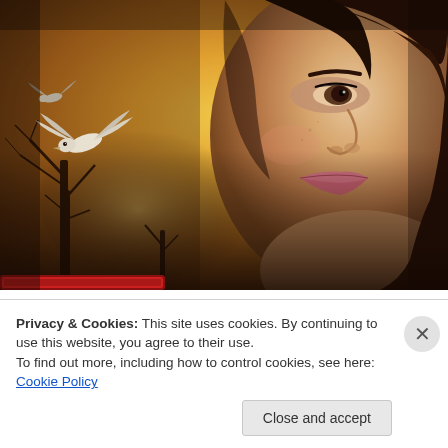[Figure (photo): Close-up photo of a young brunette woman gazing to the left, with a dramatic warm-toned composite background featuring bare winter trees silhouettes, a glowing golden sky, and a white bird (dove or pigeon) in flight on the left side. A red book or object is visible at the bottom edge.]
Privacy & Cookies: This site uses cookies. By continuing to use this website, you agree to their use.
To find out more, including how to control cookies, see here: Cookie Policy